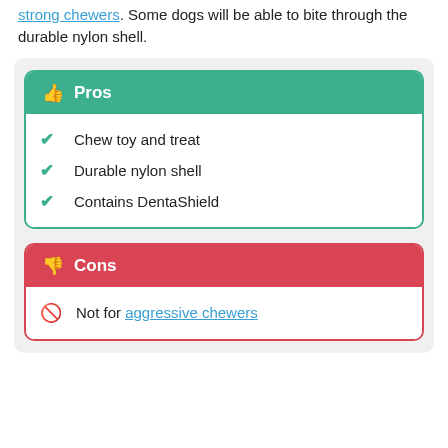The downside to this brand is that it's not for strong chewers. Some dogs will be able to bite through the durable nylon shell.
Chew toy and treat
Durable nylon shell
Contains DentaShield
Not for aggressive chewers